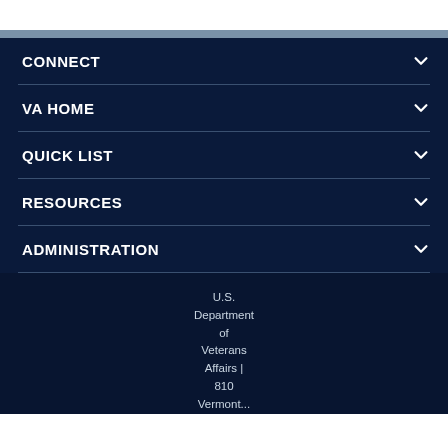CONNECT
VA HOME
QUICK LIST
RESOURCES
ADMINISTRATION
U.S. Department of Veterans Affairs | 810 Vermont...